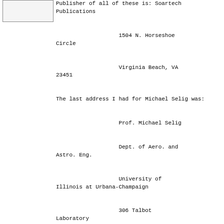[Figure (other): Empty box/image placeholder in top-left area]
Publisher of all of these is: Soartech Publications

                    1504 N. Horseshoe Circle
                    Virginia Beach, VA 23451
The last address I had for Michael Selig was:
                    Prof. Michael Selig
                    Dept. of Aero. and Astro. Eng.
                    University of Illinois at Urbana-Champaign
                    306 Talbot Laboratory
                    104 S. Wright St.
                    Urbana, IL 61801-2935

Refer also to the 1995 NFFS Symposium Report in which Dr. Selig presented
an article, "Wind Tunnel Test Results of Five Free Flight Airfoils"

   Gil Morris


Weighty A-2 ?
============
Author : TThorkildsen@dowkey.com